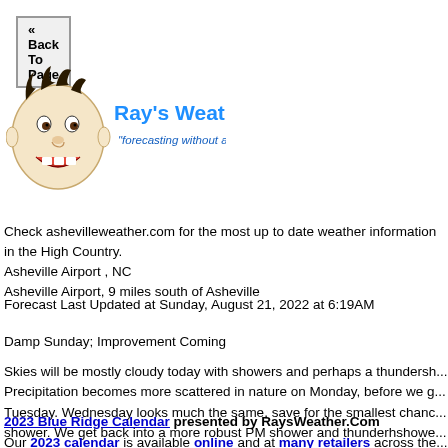« Back To Page
[Figure (logo): Ray's Weather Center logo with cartoon face and text 'forecasting without a net']
Check ashevilleweather.com for the most up to date weather information in the High Country.
Asheville Airport , NC
Asheville Airport, 9 miles south of Asheville
Forecast Last Updated at Sunday, August 21, 2022 at 6:19AM
Damp Sunday; Improvement Coming
Skies will be mostly cloudy today with showers and perhaps a thundersh... Precipitation becomes more scattered in nature on Monday, before we g... Tuesday. Wednesday looks much the same, save for the smallest chanc... shower. We get back into a more robust PM shower and thunderhshowe... starting on Thursday.
2023 Blue Ridge Calendar presented by RaysWeather.Com
Our 2023 calendar is available online and at many retailers across the...
The calendar features stunning photography from the Blue Ridge Photo C... is a 16-month calendar covering September 2022 to December 2023...